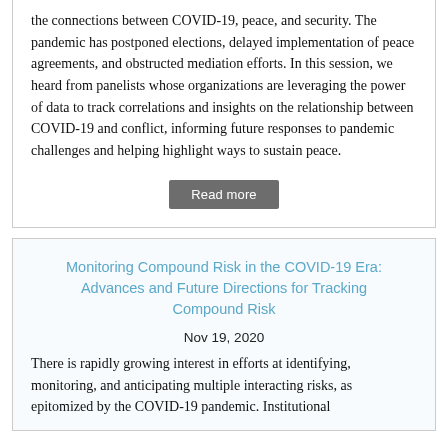the connections between COVID-19, peace, and security. The pandemic has postponed elections, delayed implementation of peace agreements, and obstructed mediation efforts. In this session, we heard from panelists whose organizations are leveraging the power of data to track correlations and insights on the relationship between COVID-19 and conflict, informing future responses to pandemic challenges and helping highlight ways to sustain peace.
Read more
Monitoring Compound Risk in the COVID-19 Era: Advances and Future Directions for Tracking Compound Risk
Nov 19, 2020
There is rapidly growing interest in efforts at identifying, monitoring, and anticipating multiple interacting risks, as epitomized by the COVID-19 pandemic. Institutional